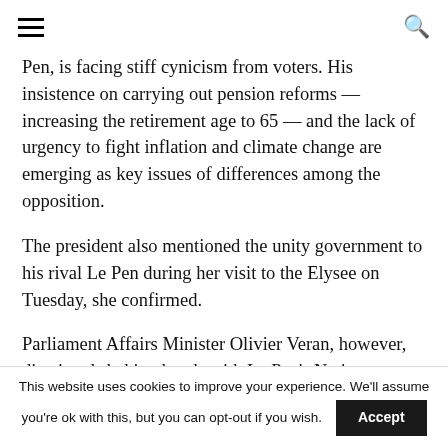[hamburger menu] [search icon]
Pen, is facing stiff cynicism from voters. His insistence on carrying out pension reforms — increasing the retirement age to 65 — and the lack of urgency to fight inflation and climate change are emerging as key issues of differences among the opposition.
The president also mentioned the unity government to his rival Le Pen during her visit to the Elysee on Tuesday, she confirmed.
Parliament Affairs Minister Olivier Veran, however, dismissed shaking hands with Le Pen's Natio…
This website uses cookies to improve your experience. We'll assume you're ok with this, but you can opt-out if you wish. Accept